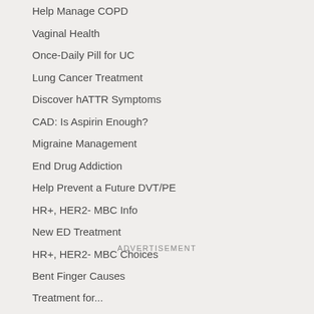Help Manage COPD
Vaginal Health
Once-Daily Pill for UC
Lung Cancer Treatment
Discover hATTR Symptoms
CAD: Is Aspirin Enough?
Migraine Management
End Drug Addiction
Help Prevent a Future DVT/PE
HR+, HER2- MBC Info
New ED Treatment
HR+, HER2- MBC Choices
Bent Finger Causes
Treatment for...
ADVERTISEMENT